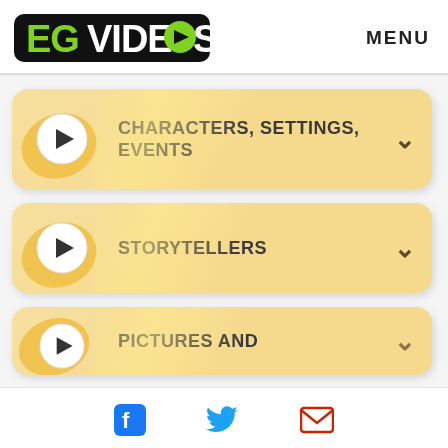[Figure (logo): EG Videos logo with green bold text and play button icon]
MENU
[Figure (infographic): Menu button: CHARACTERS, SETTINGS, EVENTS with play icon and chevron]
[Figure (infographic): Menu button: STORYTELLERS with play icon and chevron]
[Figure (infographic): Menu button: PICTURES AND... with play icon and chevron (partially visible)]
[Figure (infographic): Footer social icons: Facebook, Twitter, Email]